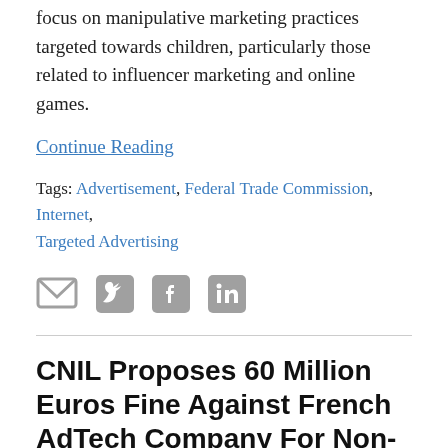focus on manipulative marketing practices targeted towards children, particularly those related to influencer marketing and online games.
Continue Reading
Tags: Advertisement, Federal Trade Commission, Internet, Targeted Advertising
[Figure (other): Social share icons: email, Twitter, Facebook, LinkedIn]
CNIL Proposes 60 Million Euros Fine Against French AdTech Company For Non-Compliance with GDPR